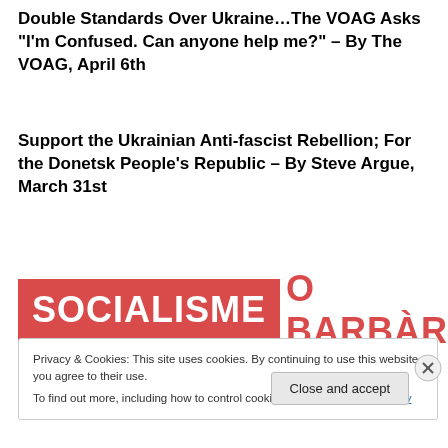Double Standards Over Ukraine…The VOAG Asks “I’m Confused. Can anyone help me?” – By The VOAG, April 6th
Support the Ukrainian Anti-fascist Rebellion; For the Donetsk People’s Republic – By Steve Argue, March 31st
[Figure (logo): Logo reading SOCIALISME O BARBÀRIE in bold white text on red background (SOCIALISME) and red text on white (O BARBÀRIE)]
Privacy & Cookies: This site uses cookies. By continuing to use this website, you agree to their use.
To find out more, including how to control cookies, see here: Cookie Policy
Close and accept